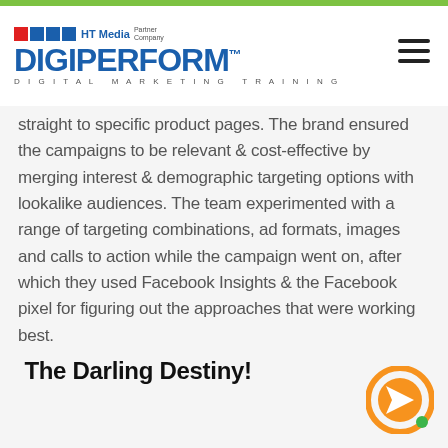[Figure (logo): DigiPerform logo with HT Media Partner Company branding and hamburger menu icon]
straight to specific product pages. The brand ensured the campaigns to be relevant & cost-effective by merging interest & demographic targeting options with lookalike audiences. The team experimented with a range of targeting combinations, ad formats, images and calls to action while the campaign went on, after which they used Facebook Insights & the Facebook pixel for figuring out the approaches that were working best.
The Darling Destiny!
[Figure (illustration): Orange circular chat/navigate icon with white arrow inside, green dot at bottom right, positioned at bottom right of page]